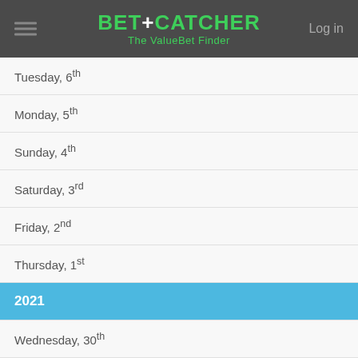BET+CATCHER The ValueBet Finder
Tuesday, 6th
Monday, 5th
Sunday, 4th
Saturday, 3rd
Friday, 2nd
Thursday, 1st
2021
Wednesday, 30th
Tuesday, 29th
Monday, 28th
Sunday, 27th
Saturday, 26th
Friday, 25th